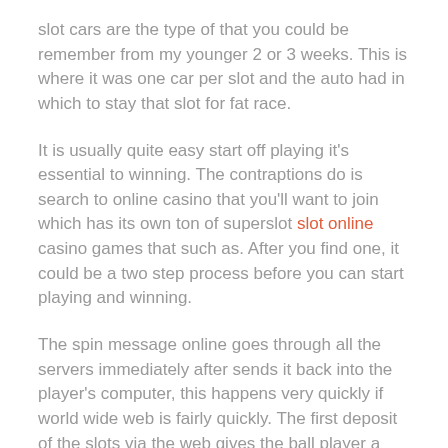slot cars are the type of that you could be remember from my younger 2 or 3 weeks. This is where it was one car per slot and the auto had in which to stay that slot for fat race.
It is usually quite easy start off playing it's essential to winning. The contraptions do is search to online casino that you'll want to join which has its own ton of superslot slot online casino games that such as. After you find one, it could be a two step process before you can start playing and winning.
The spin message online goes through all the servers immediately after sends it back into the player's computer, this happens very quickly if world wide web is fairly quickly. The first deposit of the slots via the web gives the ball player a welcome bonus. These offers range from one casino to gambling establishment.